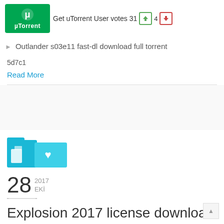[Figure (logo): µTorrent green logo with μ symbol and text 'µTorrent', alongside 'Get uTorrent' text and 'User votes 31' with thumbs up (4) and thumbs down icons]
Outlander s03e11 fast-dl download full torrent
5d7c1
Read More
[Figure (illustration): Teal/blue folder icon with document and heart sub-icons]
28 2017 EKİ
Explosion 2017 license download movie torrent